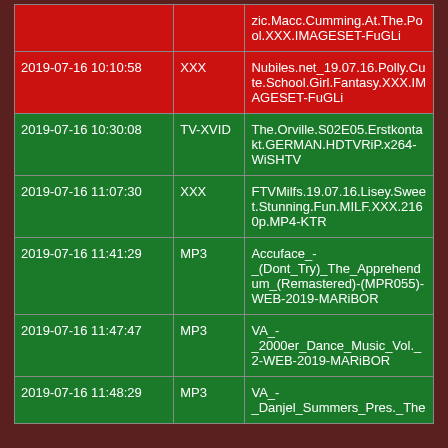| Date/Time | Category | Filename |
| --- | --- | --- |
|  |  | zic.Macc.Cumming.At.The.Pool.XXX.IMAGESET-FuGLi |
| 2019-07-16 10:10:58 | XXX | Nubiles.net_19.07.16.Polly.Cute.School.Girl.Fantasy.XXX.IMAGESET-FuGLi |
| 2019-07-16 10:30:08 | TV-XVID | The.Orville.S02E05.Erstkontakt.GERMAN.HDTVRiP.x264-WiSHTV |
| 2019-07-16 11:07:30 | XXX | FTVMilfs.19.07.16.Lisey.Sweet.Stunning.Fun.MILF.XXX.2160p.MP4-KTR |
| 2019-07-16 11:41:29 | MP3 | Accuface_-(Dont_Try)_The_Apprehendum_(Remastered)-(MPR055)-WEB-2019-MARiBOR |
| 2019-07-16 11:47:47 | MP3 | VA_-_2000er_Dance_Music_Vol._2-WEB-2019-MARiBOR |
| 2019-07-16 11:48:29 | MP3 | VA_-_Danjel_Summers_Pres._The |